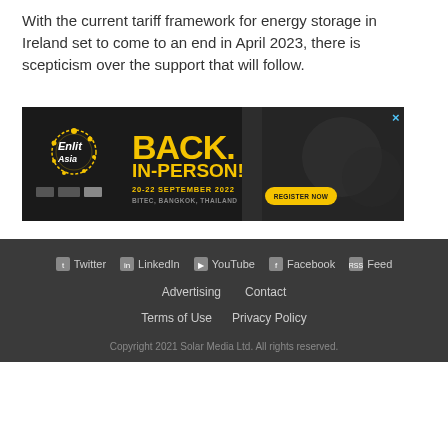With the current tariff framework for energy storage in Ireland set to come to an end in April 2023, there is scepticism over the support that will follow.
[Figure (illustration): Advertisement banner for Enlit Asia conference. Dark background with yellow bold text reading 'BACK. IN-PERSON!' and details '20-22 SEPTEMBER 2022, BITEC, BANGKOK, THAILAND' with a 'REGISTER NOW' button. Enlit Asia logo on the left with decorative star/ring graphic.]
Twitter   LinkedIn   YouTube   Facebook   Feed
Advertising   Contact
Terms of Use   Privacy Policy
Copyright 2021 Solar Media Ltd. All rights reserved.